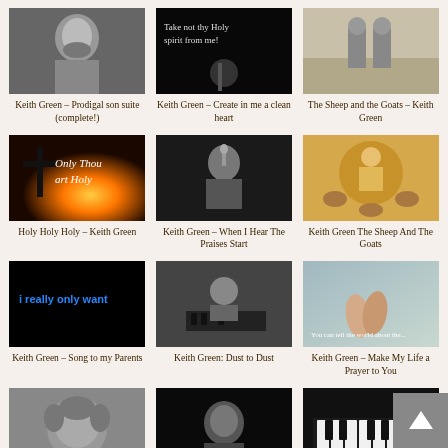[Figure (photo): Black and white photo of bearded man]
Keith Green – Prodigal son suite (complete!)
[Figure (photo): Dark image with text 'Take not thy Holy spirit from me!']
Keith Green – Create in me a clean heart
[Figure (photo): Light sandy colored image with figures]
The Sheep and the Goats – Keith Green
[Figure (photo): Sunset image with text 'Only Thou art Holy']
Holy Holy Holy – Keith Green
[Figure (photo): Black and white performance photo]
Keith Green – When I Hear The Praises Start
[Figure (photo): Illustrated image of sheep and goats]
Keith Green The Sheep And The Goats
[Figure (photo): Black background with blue text 'I really only want']
Keith Green – Song to my Parents
[Figure (photo): Black and white photo of man at piano]
Keith Green: Dust to Dust
[Figure (photo): Hands clasped in prayer with text overlay]
Keith Green – Make My Life a Prayer to You
[Figure (photo): Partial image of man with curly hair]
[Figure (photo): Partial dark image]
[Figure (photo): Partial dark image of piano keys]